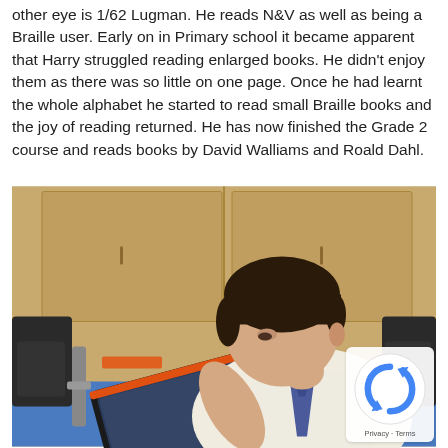other eye is 1/62 Logman. He reads N&V as well as being a Braille user. Early on in Primary school it became apparent that Harry struggled reading enlarged books. He didn't enjoy them as there was so little on one page. Once he had learnt the whole alphabet he started to read small Braille books and the joy of reading returned. He has now finished the Grade 2 course and reads books by David Walliams and Roald Dahl.
[Figure (photo): A young boy in school uniform (white shirt and tie) leaning over a tablet device mounted on a stand, appearing to use it. Wooden cabinet in background, blue surface visible.]